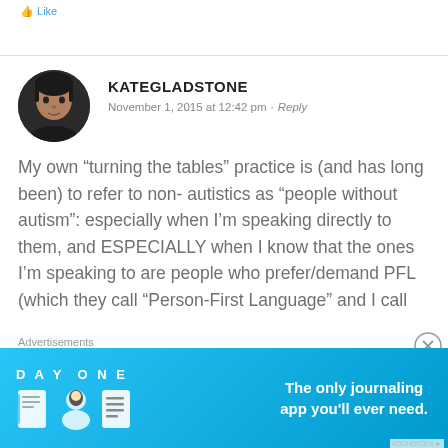Like
KATEGLADSTONE
November 1, 2015 at 12:42 pm · Reply

My own “turning the tables” practice is (and has long been) to refer to non-autistics as “people without autism”: especially when I’m speaking directly to them, and ESPECIALLY when I know that the ones I’m speaking to are people who prefer/demand PFL (which they call “Person-First Language” and I call
[Figure (photo): Round avatar photo of KATEGLADSTONE, a woman with short dark hair]
Advertisements
[Figure (screenshot): DAY ONE app advertisement banner in blue: icons of a journal, person, and document with text 'The only journaling app you’ll ever need.']